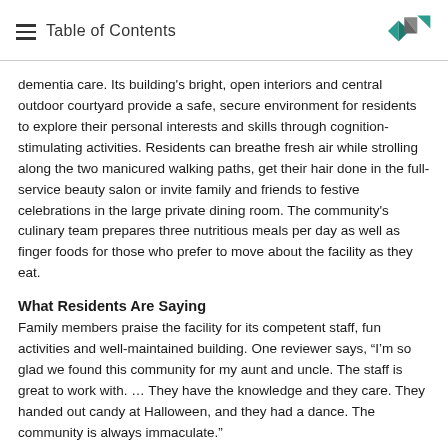Table of Contents
dementia care. Its building's bright, open interiors and central outdoor courtyard provide a safe, secure environment for residents to explore their personal interests and skills through cognition-stimulating activities. Residents can breathe fresh air while strolling along the two manicured walking paths, get their hair done in the full-service beauty salon or invite family and friends to festive celebrations in the large private dining room. The community's culinary team prepares three nutritious meals per day as well as finger foods for those who prefer to move about the facility as they eat.
What Residents Are Saying
Family members praise the facility for its competent staff, fun activities and well-maintained building. One reviewer says, “I’m so glad we found this community for my aunt and uncle. The staff is great to work with. … They have the knowledge and they care. They handed out candy at Halloween, and they had a dance. The community is always immaculate.”